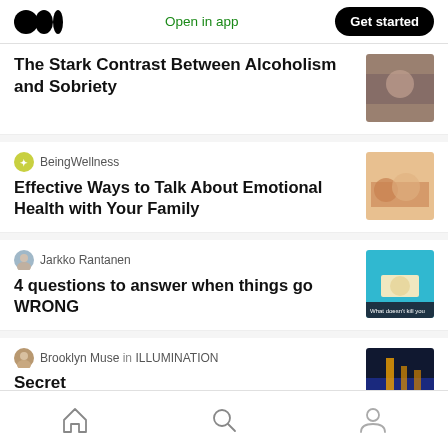Medium logo | Open in app | Get started
The Stark Contrast Between Alcoholism and Sobriety
BeingWellness
Effective Ways to Talk About Emotional Health with Your Family
Jarkko Rantanen
4 questions to answer when things go WRONG
Brooklyn Muse in ILLUMINATION
Secret
Home | Search | Profile